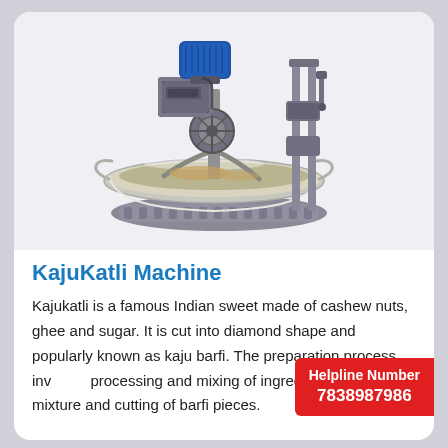[Figure (photo): Industrial KajuKatli machine with a large stainless steel mixing bowl, a blue electric motor on top, a pulley wheel, vertical support rods with screw mechanism, and a grey cast base.]
KajuKatli Machine
Kajukatli is a famous Indian sweet made of cashew nuts, ghee and sugar. It is cut into diamond shape and popularly known as kaju barfi. The preparation process involves processing and mixing of ingredients, the mixture and cutting of barfi pieces.
Helpline Number
7838987986